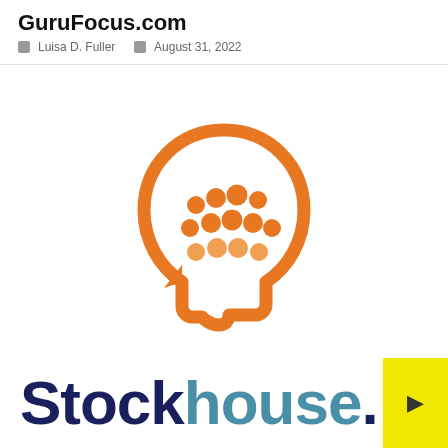GuruFocus.com
Luisa D. Fuller   August 31, 2022
[Figure (logo): Stockhouse orange head/microphone logo — an orange circular face outline with an arrow/speech-bubble chin, containing a grid of orange dots representing a microphone or keyboard pattern]
[Figure (logo): Stockhouse text logo in dark navy and teal colors with a yellow box at the right edge containing a small arrow icon]